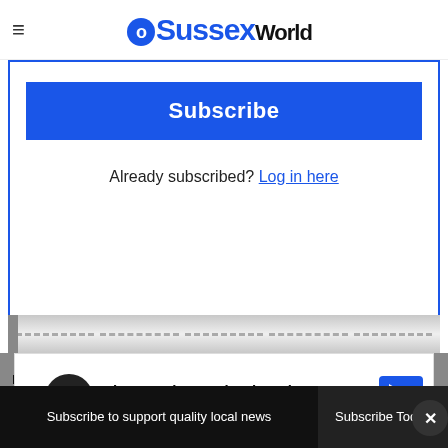Sussex World
[Figure (screenshot): Subscription prompt box with blue Subscribe button and 'Already subscribed? Log in here' link, overlaid on article content with video player controls and progress bar]
Already subscribed? Log in here
[Figure (screenshot): Advertisement banner: Shop Back To School Deals - Leesburg Premium Outlets]
Subscribe to support quality local news
Subscribe Today